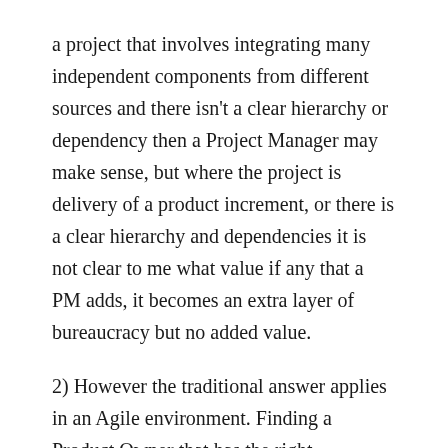a project that involves integrating many independent components from different sources and there isn't a clear hierarchy or dependency then a Project Manager may make sense, but where the project is delivery of a product increment, or there is a clear hierarchy and dependencies it is not clear to me what value if any that a PM adds, it becomes an extra layer of bureaucracy but no added value.
2) However the traditional answer applies in an Agile environment. Finding a Product Owner that has the right knowledge and skill set is vital, as is empower them appropriately. Finally have them focused entirely on this one and only product. Multi-tasking will generally lead to problems with one or both projects.